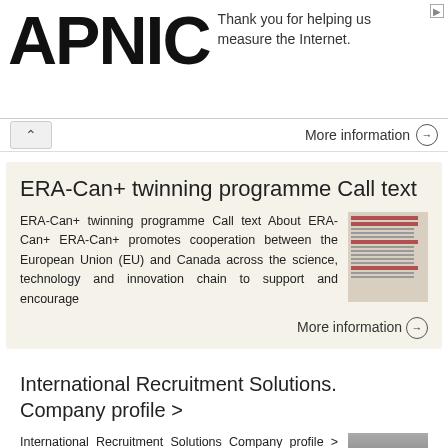APNIC — Thank you for helping us measure the Internet.
More information →
ERA-Can+ twinning programme Call text
ERA-Can+ twinning programme Call text About ERA-Can+ ERA-Can+ promotes cooperation between the European Union (EU) and Canada across the science, technology and innovation chain to support and encourage
More information →
International Recruitment Solutions. Company profile >
International Recruitment Solutions Company profile > 25.04.2018 1 SOLUTION FOR ALL YOUR INTERNATIONAL HIRING